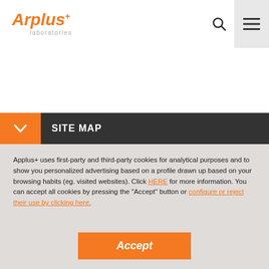Applus+ laboratories
SITE MAP
Applus+ uses first-party and third-party cookies for analytical purposes and to show you personalized advertising based on a profile drawn up based on your browsing habits (eg. visited websites). Click HERE for more information. You can accept all cookies by pressing the "Accept" button or configure or reject their use by clicking here.
Accept